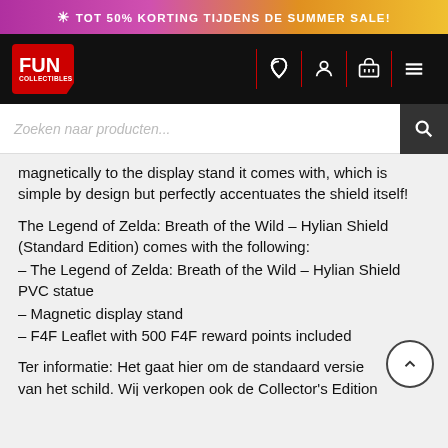☀ TOT 50% KORTING TIJDENS DE SUMMER SALE!
[Figure (logo): Fun Collectibles logo — red speech-bubble shape with FUN COLLECTIBLES text in white]
magnetically to the display stand it comes with, which is simple by design but perfectly accentuates the shield itself!
The Legend of Zelda: Breath of the Wild – Hylian Shield (Standard Edition) comes with the following:
– The Legend of Zelda: Breath of the Wild – Hylian Shield PVC statue
– Magnetic display stand
– F4F Leaflet with 500 F4F reward points included
Ter informatie: Het gaat hier om de standaard versie van het schild. Wij verkopen ook de Collector's Edition